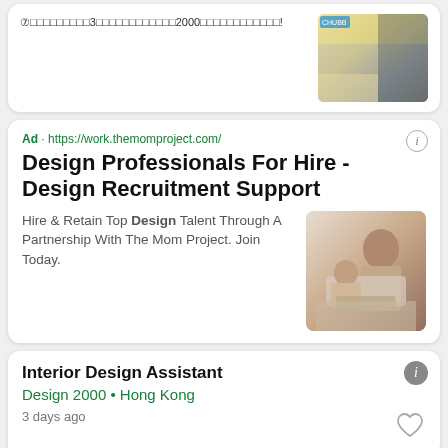⑦□□□□□□□□□3□□□□□□□□□□□□2000□□□□□□□□□□□□!
[Figure (photo): Interior room photo showing a hallway or corridor with modern design, light floors, and a blue/yellow wall accent]
Ad · https://work.themomproject.com/
Design Professionals For Hire - Design Recruitment Support
Hire & Retain Top Design Talent Through A Partnership With The Mom Project. Join Today.
[Figure (photo): Photo of a woman working at a laptop with a child nearby]
Interior Design Assistant
Design 2000 • Hong Kong
3 days ago